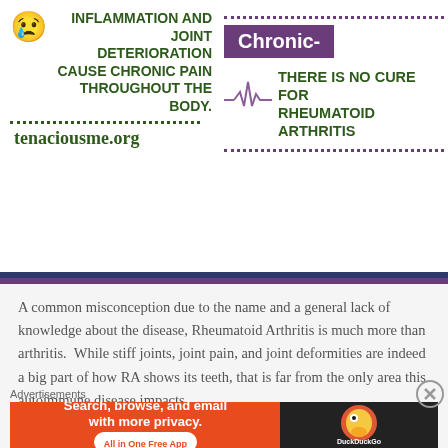[Figure (infographic): Medical infographic with two panels: left panel shows crying emoji with text 'INFLAMMATION AND JOINT DETERIORATION CAUSE CHRONIC PAIN THROUGHOUT THE BODY.' and 'tenaciousme.org'; right panel shows purple 'Chronic-' box, heartbeat line graphic, and text 'THERE IS NO CURE FOR RHEUMATOID ARTHRITIS']
A common misconception due to the name and a general lack of knowledge about the disease, Rheumatoid Arthritis is much more than arthritis.  While stiff joints, joint pain, and joint deformities are indeed a big part of how RA shows its teeth, that is far from the only area this autoimmune disease impacts.
RA is a systemic disease; this means that it attacks the entire body.  Heart and lung tissue, tendons, eyes, vocal
Advertisements
[Figure (screenshot): DuckDuckGo advertisement banner: orange section with 'Search, browse, and email with more privacy. All in One Free App' and dark section with DuckDuckGo duck logo]